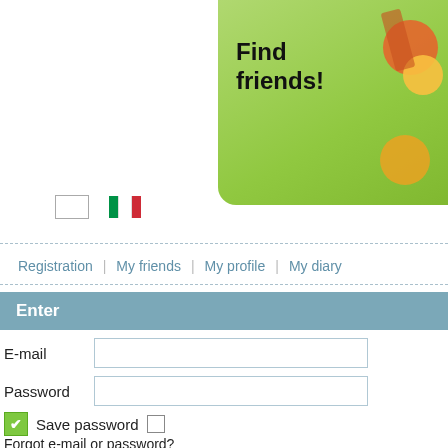[Figure (screenshot): Green banner in top-right with 'Find friends!' text and decorative fruit/cocktail illustration]
[Figure (other): Empty checkbox (white rectangle) and Italian flag icon in header area]
Registration | My friends | My profile | My diary
Enter
E-mail [input field]
Password [input field]
Save password [checkbox]
Forgot e-mail or password?
Friend search
The purpose of dating
[dropdown selector]
Residence
New users | Woman | Men
kods22 (58)
Latvia
Marggeorgeeee (51)
Latvia
dave...